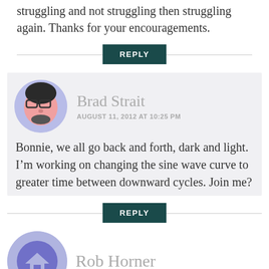struggling and not struggling then struggling again. Thanks for your encouragements.
REPLY
Brad Strait
AUGUST 11, 2012 AT 10:25 PM
Bonnie, we all go back and forth, dark and light. I’m working on changing the sine wave curve to greater time between downward cycles. Join me?
REPLY
Rob Horner